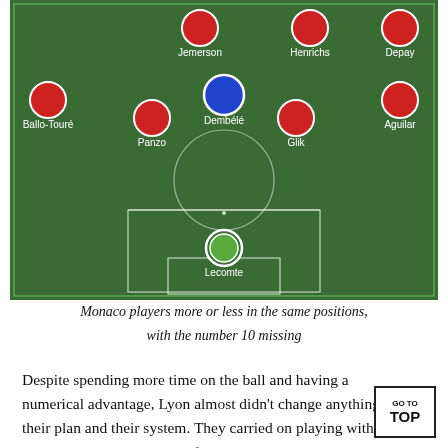[Figure (illustration): Football/soccer tactical diagram showing Monaco players on a green pitch. Players shown as colored circles: red circles for most players, one blue circle for Dembélé. Players labeled: Jemerson, Henrichs, Depay (top row), Ballo-Touré, Panzo, Dembélé, Glik, Aguilar (middle rows), and Lecomte (goalkeeper, green circle). A penalty box and goal are shown at the bottom.]
Monaco players more or less in the same positions, with the number 10 missing
Despite spending more time on the ball and having a numerical advantage, Lyon almost didn't change anything to their plan and their system. They carried on playing with the same rigid 4-3-3 and a lot of application in all the collective patterns. One slight change was